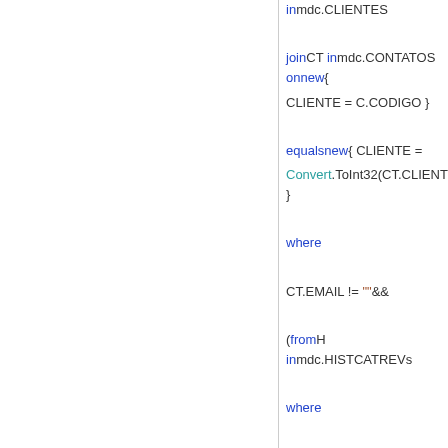in mdc.CLIENTES

join CT in mdc.CONTATOS on new{ CLIENTE = C.CODIGO }

equals new{ CLIENTE = Convert.ToInt32(CT.CLIENTE) }

where

CT.EMAIL != ""&&

(from H in mdc.HISTCATREVs

where

H.CODIGOTIPO == C.CODIGO &&

H.TIPO == "R"&&

H.REVISTA == "002"

select new

{